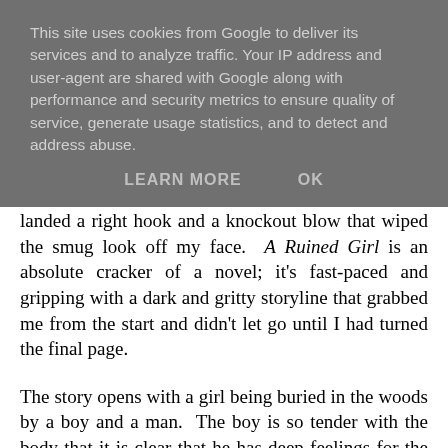This site uses cookies from Google to deliver its services and to analyze traffic. Your IP address and user-agent are shared with Google along with performance and security metrics to ensure quality of service, generate usage statistics, and to detect and address abuse.
LEARN MORE    OK
landed a right hook and a knockout blow that wiped the smug look off my face.  A Ruined Girl is an absolute cracker of a novel; it's fast-paced and gripping with a dark and gritty storyline that grabbed me from the start and didn't let go until I had turned the final page.
The story opens with a girl being buried in the woods by a boy and a man.  The boy is so tender with the body that it is clear that he has deep feelings for the girl.  Of course you then wonder why he killed her, or helped to kill her.  Why else would he be burying her in the woods?
Rob is a prisoner eligible for the Community Atonement Programme, whereby he meets and apologises to those affected by the crime that saw him sent to prison.  Rob or